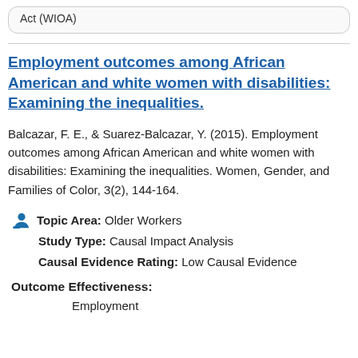Act (WIOA)
Employment outcomes among African American and white women with disabilities: Examining the inequalities.
Balcazar, F. E., & Suarez-Balcazar, Y. (2015). Employment outcomes among African American and white women with disabilities: Examining the inequalities. Women, Gender, and Families of Color, 3(2), 144-164.
Topic Area: Older Workers
Study Type: Causal Impact Analysis
Causal Evidence Rating: Low Causal Evidence
Outcome Effectiveness:
Employment